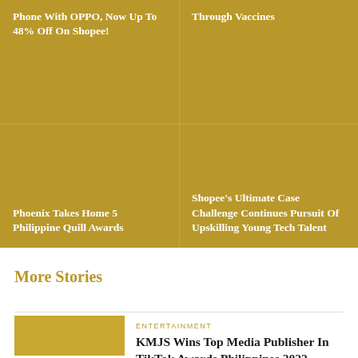Phone With OPPO, Now Up To 48% Off On Shopee!
Through Vaccines
Phoenix Takes Home 5 Philippine Quill Awards
Shopee's Ultimate Case Challenge Continues Pursuit Of Upskilling Young Tech Talent
More Stories
ENTERTAINMENT
KMJS Wins Top Media Publisher In TikTok Awards Philippines 2022